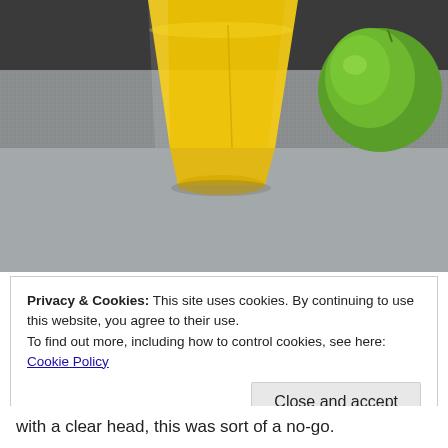[Figure (photo): Close-up photo of a glass filled with yellow/orange juice on a gray textile surface, with a green apple or lime visible in the background to the right.]
Privacy & Cookies: This site uses cookies. By continuing to use this website, you agree to their use.
To find out more, including how to control cookies, see here: Cookie Policy
Close and accept
with a clear head, this was sort of a no-go.